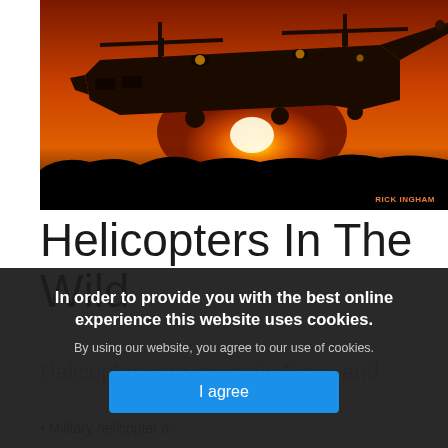[Figure (photo): Silhouette of a large military tandem-rotor helicopter (Chinook) flying against a vivid orange and red sunset sky, with dark landscape silhouetted below. Photo credit: RICK INGHAM shown in lower right.]
Helicopters In The Wild
Helicopters are my main focus and
Military helicopter o...
In order to provide you with the best online experience this website uses cookies.
By using our website, you agree to our use of cookies.
I agree